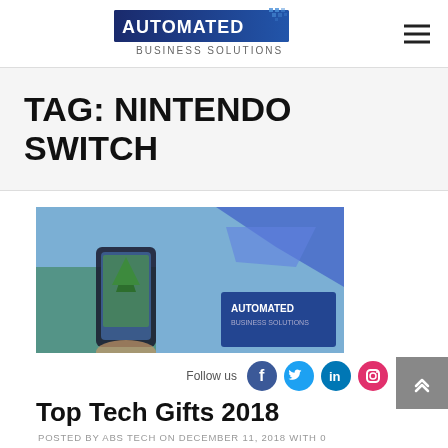[Figure (logo): Automated Business Solutions logo — blue/dark banner with 'AUTOMATED' in white bold text and pixel/dot graphic, subtitle 'BUSINESS SOLUTIONS' in gray below]
TAG: NINTENDO SWITCH
[Figure (photo): Promotional image showing a hand holding a smartphone photographing a Christmas tree, with Automated Business Solutions branded materials in the background including blue geometric shapes and the Automated Business Solutions logo]
Follow us
[Figure (infographic): Social media icons: Facebook (blue circle with f), Twitter (cyan circle with bird), LinkedIn (blue circle with in), Instagram (pink/red circle with camera)]
Top Tech Gifts 2018
POSTED BY ABS TECH ON DECEMBER 11, 2018 WITH 0